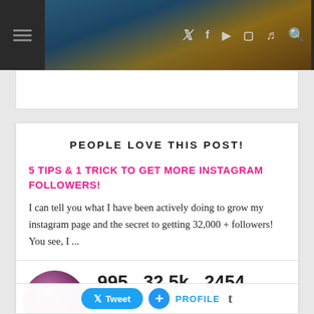[Figure (screenshot): Website header with dark background, food image banner, and social media navigation icons (Twitter, Facebook, YouTube, Instagram, Pinterest, Search in pink)]
[Figure (screenshot): White advertisement/banner bar]
PEOPLE LOVE THIS POST!
5 TIPS & 1 TRICK TO GET MORE INSTAGRAM FOLLOWERS!
I can tell you what I have been actively doing to grow my instagram page and the secret to getting 32,000 + followers! You see, I ...
[Figure (photo): Circular profile photo of a woman holding an apple]
995 posts   32.5k followers   2454
[Figure (screenshot): Bottom bar with Tweet button, plus button, PROFILE text, and Tumblr t icon]